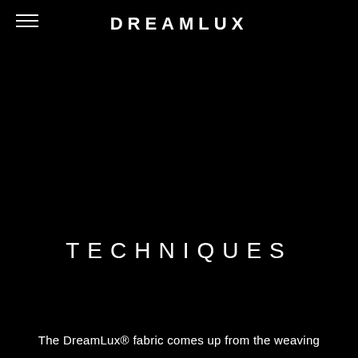DREAMLUX
TECHNIQUES
The DreamLux® fabric comes up from the weaving